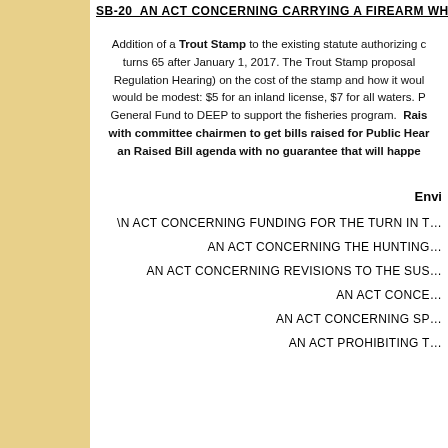SB-20 AN ACT CONCERNING CARRYING A FIREARM WH…
Addition of a Trout Stamp to the existing statute authorizing c… turns 65 after January 1, 2017. The Trout Stamp proposal… Regulation Hearing) on the cost of the stamp and how it woul… would be modest: $5 for an inland license, $7 for all waters. … General Fund to DEEP to support the fisheries program. Rais… with committee chairmen to get bills raised for Public Hear… an Raised Bill agenda with no guarantee that will happe…
Envi…
\N ACT CONCERNING FUNDING FOR THE TURN IN T…
AN ACT CONCERNING THE HUNTING…
AN ACT CONCERNING REVISIONS TO THE SUS…
AN ACT CONCE…
AN ACT CONCERNING SP…
AN ACT PROHIBITING T…